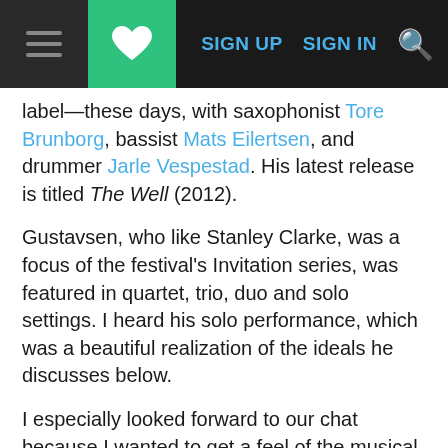Navigation bar with hamburger menu, heart/bookmark button, SIGN UP, SIGN IN links, and search icon
label—these days, with saxophonist Tore Brunborg, bassist Mats Eilertsen, and drummer Jarle Vespestad. His latest release is titled The Well (2012).
Gustavsen, who like Stanley Clarke, was a focus of the festival's Invitation series, was featured in quartet, trio, duo and solo settings. I heard his solo performance, which was a beautiful realization of the ideals he discusses below.
I especially looked forward to our chat because I wanted to get a feel of the musical roots of one of the top reputed European jazz pianists. In the course of my time as a jazz journalist, I've found that some American jazz artists and critics think that the music is becoming too cerebral, too European, lacking the grounding and